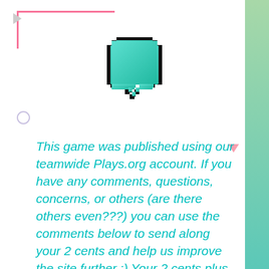[Figure (illustration): Pixelated teal/turquoise chat bubble icon on white background]
This game was published using our teamwide Plays.org account. If you have any comments, questions, concerns, or others (are there others even???) you can use the comments below to send along your 2 cents and help us improve the site further :) Your 2 cents plus 3 cents will buy you a nickel, but if your comments are genuinely